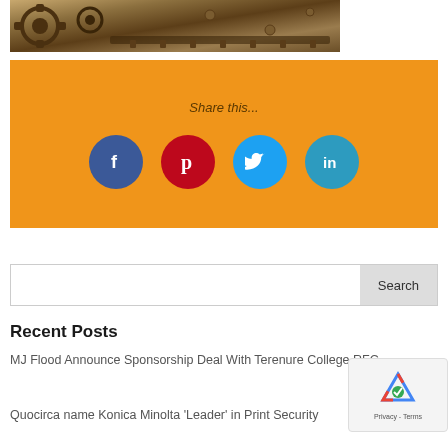[Figure (photo): Close-up photo of vintage mechanical typewriter gears and parts with sepia/brown tones]
Share this...
[Figure (infographic): Orange share box with four social media icons: Facebook (blue circle, f), Pinterest (red circle, p), Twitter (light blue circle, bird), LinkedIn (teal circle, in)]
Search
Recent Posts
MJ Flood Announce Sponsorship Deal With Terenure College RFC
Quocirca name Konica Minolta 'Leader' in Print Security